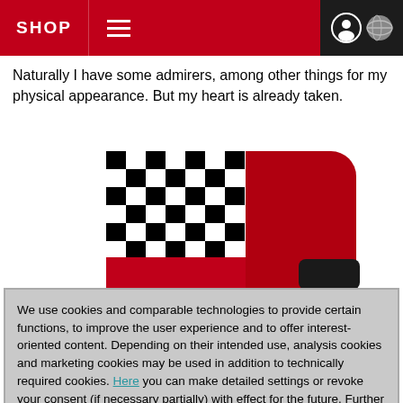SHOP
Naturally I have some admirers, among other things for my physical appearance. But my heart is already taken.
[Figure (illustration): A stylized illustration showing a red rounded rectangle shape with a black-and-white checkerboard pattern on the upper-left portion, and a small black shape at the lower right, resembling a car or racing flag motif.]
We use cookies and comparable technologies to provide certain functions, to improve the user experience and to offer interest-oriented content. Depending on their intended use, analysis cookies and marketing cookies may be used in addition to technically required cookies. Here you can make detailed settings or revoke your consent (if necessary partially) with effect for the future. Further information can be found in our data protection declaration.